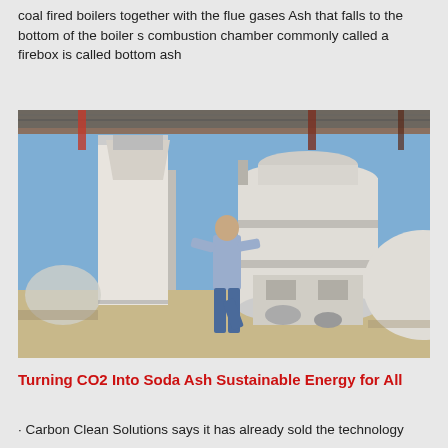coal fired boilers together with the flue gases Ash that falls to the bottom of the boiler s combustion chamber commonly called a firebox is called bottom ash
[Figure (photo): Industrial machinery with large white cylindrical processing units and hoppers under a corrugated metal roof, with a person standing near the equipment at an outdoor industrial site.]
Turning CO2 Into Soda Ash Sustainable Energy for All
Carbon Clean Solutions says it has already sold the technology